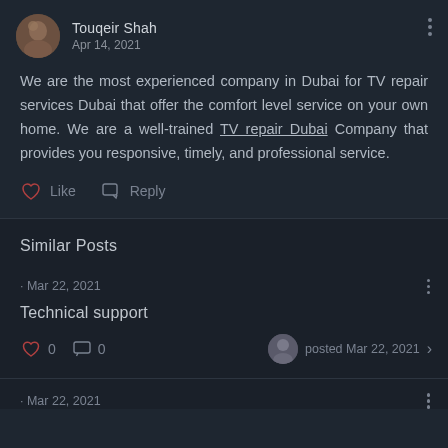Touqeir Shah
Apr 14, 2021
We are the most experienced company in Dubai for TV repair services Dubai that offer the comfort level service on your own home. We are a well-trained TV repair Dubai Company that provides you responsive, timely, and professional service.
Like   Reply
Similar Posts
· Mar 22, 2021
Technical support
0  0  posted Mar 22, 2021 >
· Mar 22, 2021